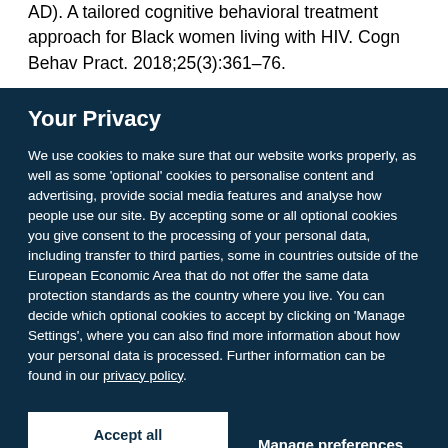AD). A tailored cognitive behavioral treatment approach for Black women living with HIV. Cogn Behav Pract. 2018;25(3):361–76.
Your Privacy
We use cookies to make sure that our website works properly, as well as some 'optional' cookies to personalise content and advertising, provide social media features and analyse how people use our site. By accepting some or all optional cookies you give consent to the processing of your personal data, including transfer to third parties, some in countries outside of the European Economic Area that do not offer the same data protection standards as the country where you live. You can decide which optional cookies to accept by clicking on 'Manage Settings', where you can also find more information about how your personal data is processed. Further information can be found in our privacy policy.
Accept all cookies
Manage preferences